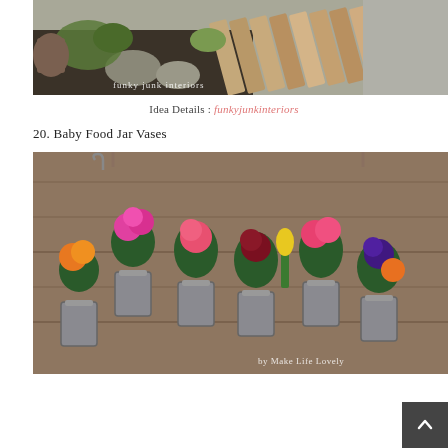[Figure (photo): Outdoor garden path scene with wooden plank stepping stones, rocks, soil, and greenery; watermark reads 'funky junk interiors']
Idea Details : funkyjunkinteriors
20. Baby Food Jar Vases
[Figure (photo): Wooden board mounted on wall with eight baby food jars attached via metal clamps, each jar containing colorful flowers (orange, pink, red, yellow, purple); watermark reads 'by Make Life Lovely']